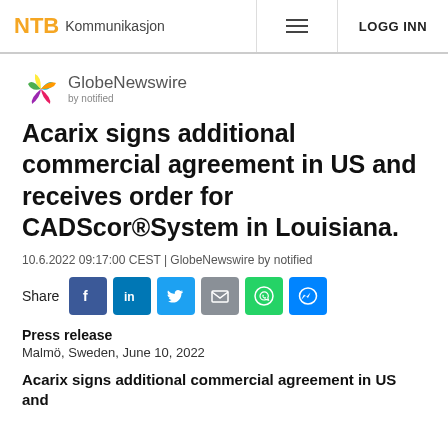NTB Kommunikasjon  ≡  LOGG INN
[Figure (logo): GlobeNewswire by notified logo with colorful bird/leaf icon]
Acarix signs additional commercial agreement in US and receives order for CADScor®System in Louisiana.
10.6.2022 09:17:00 CEST | GlobeNewswire by notified
Share [Facebook] [LinkedIn] [Twitter] [Email] [WhatsApp] [Messenger]
Press release
Malmö, Sweden, June 10, 2022
Acarix signs additional commercial agreement in US and receives order for CADScor®System in Louisiana.